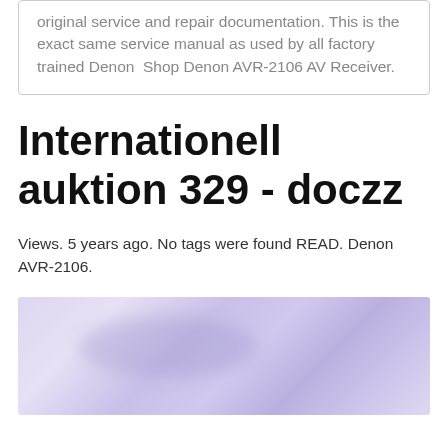original service and repair documentation. This is the exact same service manual as used by all factory trained Denon  Shop Denon AVR-2106 AV Receiver.
Internationell auktion 329 - doczz
Views. 5 years ago. No tags were found READ. Denon AVR-2106.
[Figure (photo): Abstract blurred image with soft purple and lavender tones, appearing like a cloudy or misty texture.]